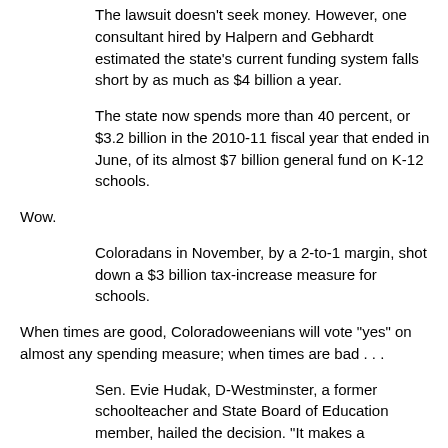The lawsuit doesn't seek money. However, one consultant hired by Halpern and Gebhardt estimated the state's current funding system falls short by as much as $4 billion a year.
The state now spends more than 40 percent, or $3.2 billion in the 2010-11 fiscal year that ended in June, of its almost $7 billion general fund on K-12 schools.
Wow.
Coloradans in November, by a 2-to-1 margin, shot down a $3 billion tax-increase measure for schools.
When times are good, Coloradoweenians will vote "yes" on almost any spending measure; when times are bad . . .
Sen. Evie Hudak, D-Westminster, a former schoolteacher and State Board of Education member, hailed the decision. "It makes a statement about the necessity of adequate school funding."